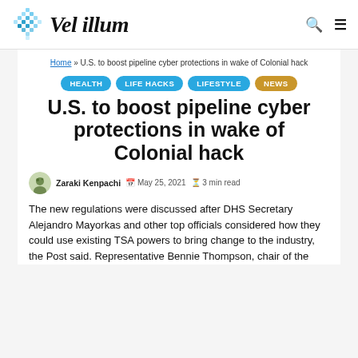Vel illum
Home » U.S. to boost pipeline cyber protections in wake of Colonial hack
HEALTH
LIFE HACKS
LIFESTYLE
NEWS
U.S. to boost pipeline cyber protections in wake of Colonial hack
Zaraki Kenpachi   May 25, 2021   3 min read
The new regulations were discussed after DHS Secretary Alejandro Mayorkas and other top officials considered how they could use existing TSA powers to bring change to the industry, the Post said. Representative Bennie Thompson, chair of the